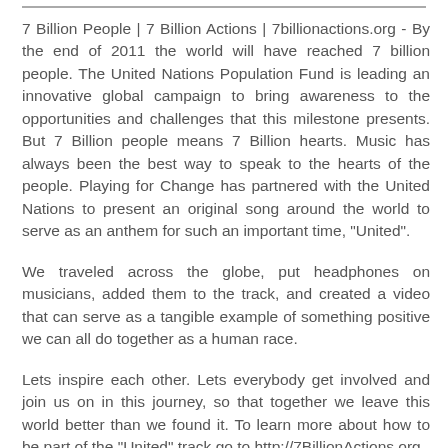7 Billion People | 7 Billion Actions | 7billionactions.org - By the end of 2011 the world will have reached 7 billion people. The United Nations Population Fund is leading an innovative global campaign to bring awareness to the opportunities and challenges that this milestone presents. But 7 Billion people means 7 Billion hearts. Music has always been the best way to speak to the hearts of the people. Playing for Change has partnered with the United Nations to present an original song around the world to serve as an anthem for such an important time, "United".
We traveled across the globe, put headphones on musicians, added them to the track, and created a video that can serve as a tangible example of something positive we can all do together as a human race.
Lets inspire each other. Lets everybody get involved and join us on in this journey, so that together we leave this world better than we found it. To learn more about how to be part of the "United" track go to http://7BillionActions.org